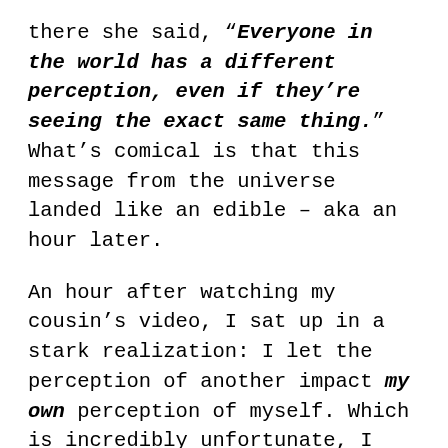there she said, “Everyone in the world has a different perception, even if they’re seeing the exact same thing.” What’s comical is that this message from the universe landed like an edible – aka an hour later.
An hour after watching my cousin’s video, I sat up in a stark realization: I let the perception of another impact my own perception of myself. Which is incredibly unfortunate, I can’t help but wonder how many opportunities I’ve missed due to this lack of clarity in myself? So within the time I’ve been writing this article, I’ve been tumbling down rabbit hole after rabbit hole of